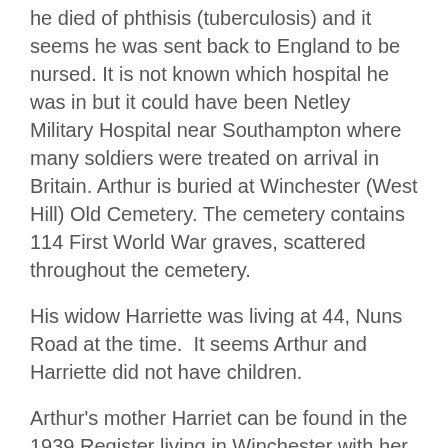he died of phthisis (tuberculosis) and it seems he was sent back to England to be nursed. It is not known which hospital he was in but it could have been Netley Military Hospital near Southampton where many soldiers were treated on arrival in Britain. Arthur is buried at Winchester (West Hill) Old Cemetery. The cemetery contains 114 First World War graves, scattered throughout the cemetery.
His widow Harriette was living at 44, Nuns Road at the time.  It seems Arthur and Harriette did not have children.
Arthur's mother Harriet can be found in the 1939 Register living in Winchester with her son Frank Martyn Alexander and his wife Kate (nee Moreton) whom he had married in 1912.